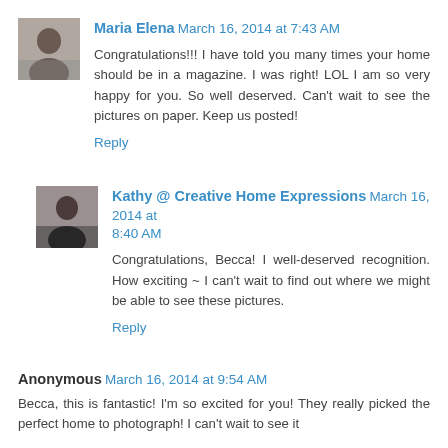[Figure (photo): Avatar photo of Maria Elena, a woman with dark hair]
Maria Elena March 16, 2014 at 7:43 AM
Congratulations!!! I have told you many times your home should be in a magazine. I was right! LOL I am so very happy for you. So well deserved. Can't wait to see the pictures on paper. Keep us posted!
Reply
[Figure (photo): Avatar photo of Kathy, a woman in dark clothing]
Kathy @ Creative Home Expressions March 16, 2014 at 8:40 AM
Congratulations, Becca! I well-deserved recognition. How exciting ~ I can't wait to find out where we might be able to see these pictures.
Reply
Anonymous March 16, 2014 at 9:54 AM
Becca, this is fantastic! I'm so excited for you! They really picked the perfect home to photograph! I can't wait to see it